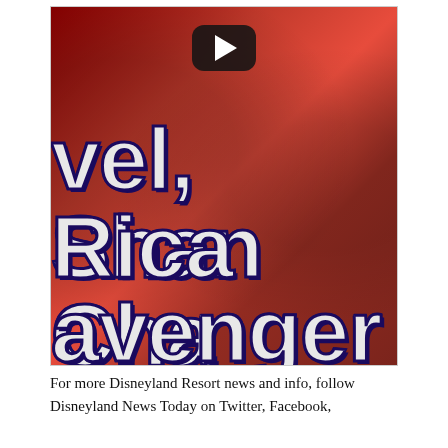[Figure (screenshot): YouTube video thumbnail showing Marvel/Avengers related content with large overlaid white text reading 'vel, Shan', 'Rica Cha', 'avenger' in bold rounded font with dark outline. A YouTube play button is visible at the top center. The background shows figures in red costumes.]
For more Disneyland Resort news and info, follow Disneyland News Today on Twitter, Facebook,